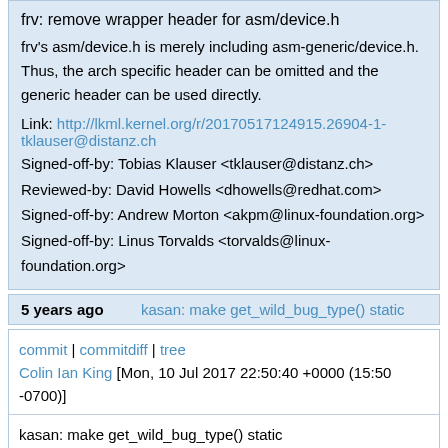frv: remove wrapper header for asm/device.h

frv's asm/device.h is merely including asm-generic/device.h. Thus, the arch specific header can be omitted and the generic header can be used directly.

Link: http://lkml.kernel.org/r/20170517124915.26904-1-tklauser@distanz.ch
Signed-off-by: Tobias Klauser <tklauser@distanz.ch>
Reviewed-by: David Howells <dhowells@redhat.com>
Signed-off-by: Andrew Morton <akpm@linux-foundation.org>
Signed-off-by: Linus Torvalds <torvalds@linux-foundation.org>
5 years ago    kasan: make get_wild_bug_type() static
commit | commitdiff | tree
Colin Ian King [Mon, 10 Jul 2017 22:50:40 +0000 (15:50 -0700)]
kasan: make get_wild_bug_type() static

The helper function get_wild_bug_type() does not need to be in global scope, so make it static.

Cleans up sparse warning: